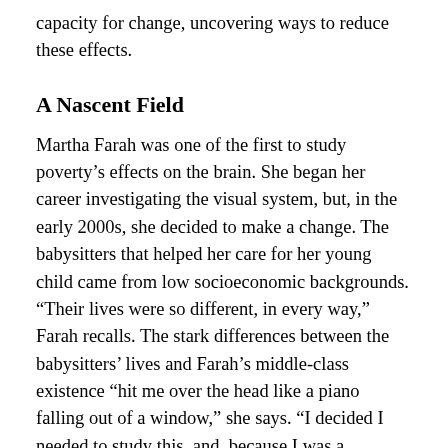capacity for change, uncovering ways to reduce these effects.
A Nascent Field
Martha Farah was one of the first to study poverty’s effects on the brain. She began her career investigating the visual system, but, in the early 2000s, she decided to make a change. The babysitters that helped her care for her young child came from low socioeconomic backgrounds. “Their lives were so different, in every way,” Farah recalls. The stark differences between the babysitters’ lives and Farah’s middle-class existence “hit me over the head like a piano falling out of a window,” she says. “I decided I needed to study this, and, because I was a cognitive neuroscientist, that was my approach.”
Farah — who now directs the University of Pennsylvania’s